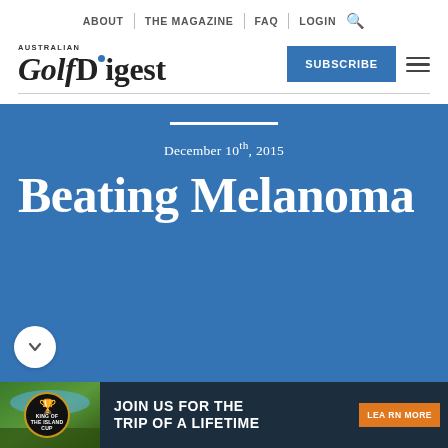ABOUT | THE MAGAZINE | FAQ | LOGIN
Australian Golf Digest
SUBSCRIBE
December 10th, 2015
Beating Melanoma
[Figure (infographic): Advertisement banner: King of the Island Cup — JOIN US FOR THE TRIP OF A LIFETIME — LEARN MORE]
JOIN US FOR THE TRIP OF A LIFETIME